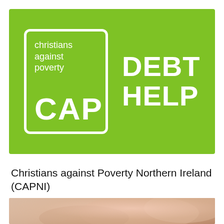[Figure (logo): Christians Against Poverty (CAP) Debt Help logo on green background. White rounded square border containing 'christians against poverty' text at top and large 'CAP' letters. To the right, large white bold text reading 'DEBT HELP'.]
Christians against Poverty Northern Ireland (CAPNI)
[Figure (photo): Blurred photo of a person, warm skin tones, partial face/shoulder visible at bottom of page.]